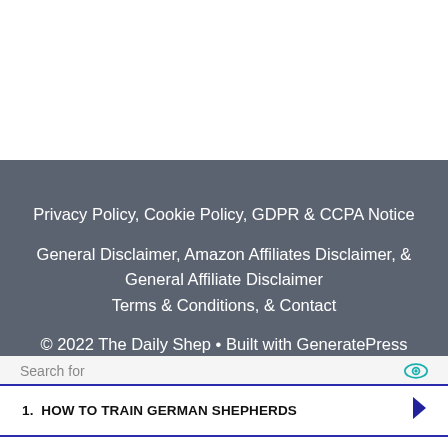Privacy Policy, Cookie Policy, GDPR & CCPA Notice
General Disclaimer, Amazon Affiliates Disclaimer, & General Affiliate Disclaimer
Terms & Conditions, & Contact
© 2022 The Daily Shep • Built with GeneratePress
Search for
1. HOW TO TRAIN GERMAN SHEPHERDS
2. GERMAN SHEPHERD PUPPIES FOR
Yahoo! Search | Sponsored